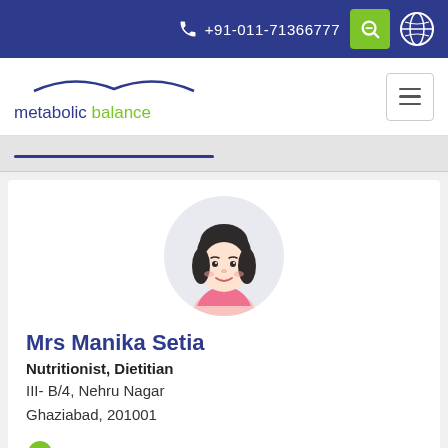+91-011-71366777
[Figure (logo): Metabolic Balance logo with arc and text]
Mrs Manika Setia
Nutritionist, Dietitian
III- B/4, Nehru Nagar
Ghaziabad, 201001
17.1 km